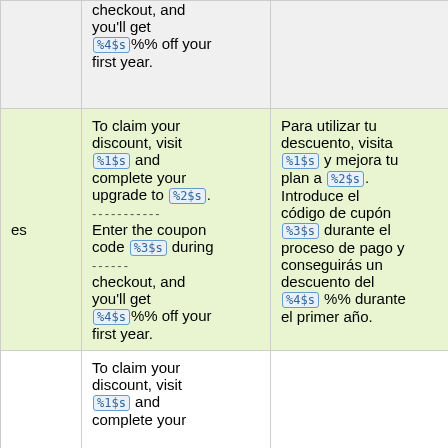|  | checkout, and you'll get %4$s%% off your first year. |  |  |
| es | To claim your discount, visit %1$s and complete your upgrade to %2$s. ----------- Enter the coupon code %3$s during ------ checkout, and you'll get %4$s%% off your first year. | Para utilizar tu descuento, visita %1$s y mejora tu plan a %2$s. Introduce el código de cupón %3$s durante el proceso de pago y conseguirás un descuento del %4$s %% durante el primer año. | Details |
|  | To claim your discount, visit %1$s and complete your |  |  |